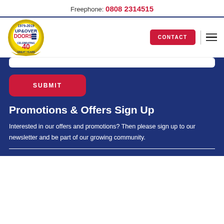Freephone: 0808 2314515
[Figure (logo): Up & Over Doors logo, 40th anniversary badge, 1979-2019]
CONTACT
SUBMIT
Promotions & Offers Sign Up
Interested in our offers and promotions? Then please sign up to our newsletter and be part of our growing community.